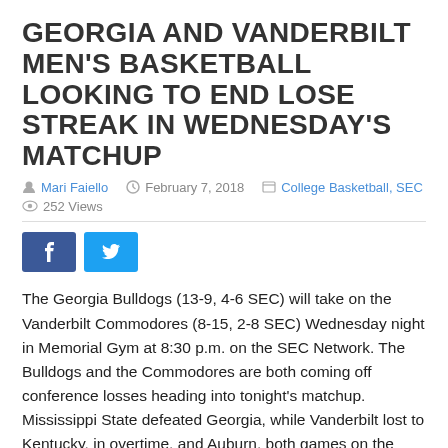GEORGIA AND VANDERBILT MEN'S BASKETBALL LOOKING TO END LOSE STREAK IN WEDNESDAY'S MATCHUP
Mari Faiello  February 7, 2018  College Basketball, SEC  252 Views
[Figure (other): Facebook and Twitter social share buttons]
The Georgia Bulldogs (13-9, 4-6 SEC) will take on the Vanderbilt Commodores (8-15, 2-8 SEC) Wednesday night in Memorial Gym at 8:30 p.m. on the SEC Network. The Bulldogs and the Commodores are both coming off conference losses heading into tonight's matchup. Mississippi State defeated Georgia, while Vanderbilt lost to Kentucky, in overtime, and Auburn, both games on the road.
The Bulldogs need to finish their road game stretch with a win
Tonight's game marks Georgia's fifth away game in a seven-game stretch. The Bulldogs have lost four out of the last five games – the sole win coming against conference rival Florida – but a win